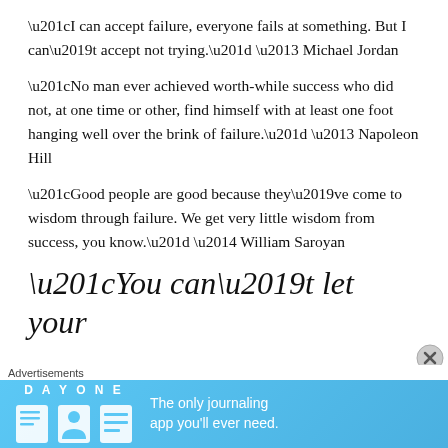“I can accept failure, everyone fails at something. But I can’t accept not trying.” – Michael Jordan
“No man ever achieved worth-while success who did not, at one time or other, find himself with at least one foot hanging well over the brink of failure.” – Napoleon Hill
“Good people are good because they’ve come to wisdom through failure. We get very little wisdom from success, you know.” — William Saroyan
“You can’t let your
Advertisements
[Figure (other): Day One journaling app advertisement banner with blue background, app icons, and text: The only journaling app you'll ever need.]